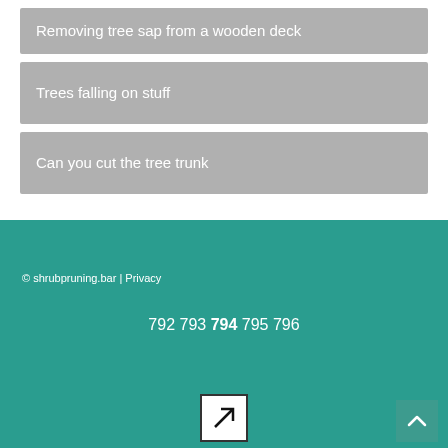Removing tree sap from a wooden deck
Trees falling on stuff
Can you cut the tree trunk
© shrubpruning.bar | Privacy
792 793 794 795 796